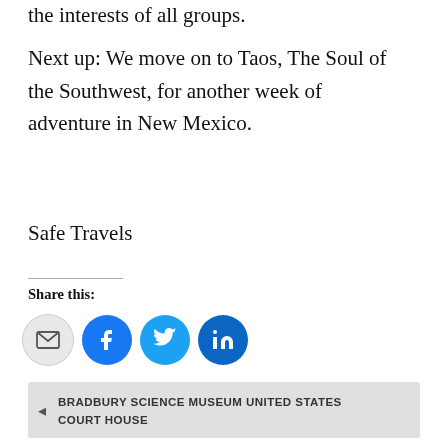the interests of all groups.
Next up: We move on to Taos, The Soul of the Southwest, for another week of adventure in New Mexico.
Safe Travels
Share this:
[Figure (infographic): Social sharing icons: email (grey circle), Facebook (blue circle with f), Twitter (blue circle with bird), LinkedIn (dark blue circle with in)]
Loading...
BRADBURY SCIENCE MUSEUM UNITED STATES COURT HOUSE